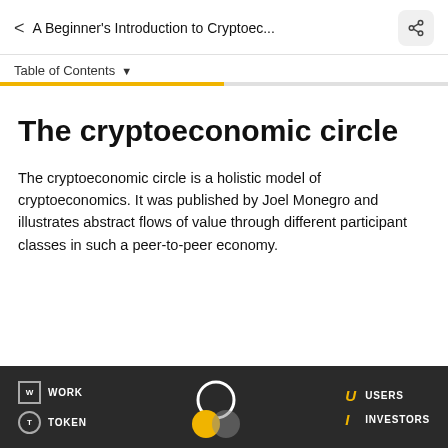< A Beginner's Introduction to Cryptoec... [share]
Table of Contents ▾
The cryptoeconomic circle
The cryptoeconomic circle is a holistic model of cryptoeconomics. It was published by Joel Monegro and illustrates abstract flows of value through different participant classes in such a peer-to-peer economy.
[Figure (infographic): Dark background diagram footer showing legend items: W WORK, T TOKEN on the left; a circular diagram/icon in the center; U USERS, I INVESTORS on the right in yellow italic letters.]